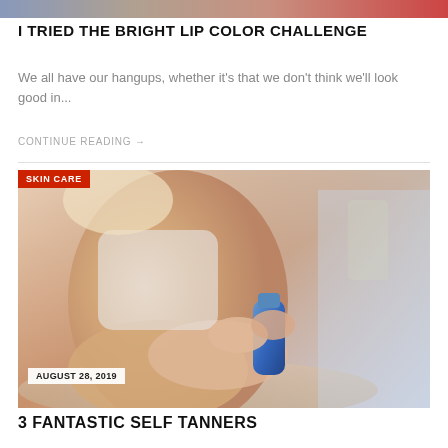[Figure (photo): Partial cropped photo of a person at the top of the page, partially visible]
I TRIED THE BRIGHT LIP COLOR CHALLENGE
We all have our hangups, whether it's that we don't think we'll look good in...
CONTINUE READING →
[Figure (photo): Photo of a blonde woman in a white tank top applying lotion or spray from a blue bottle/container to her legs, sitting on a floor. A 'SKIN CARE' category badge overlays the top-left corner and 'AUGUST 28, 2019' date badge overlays the bottom-left corner.]
3 FANTASTIC SELF TANNERS